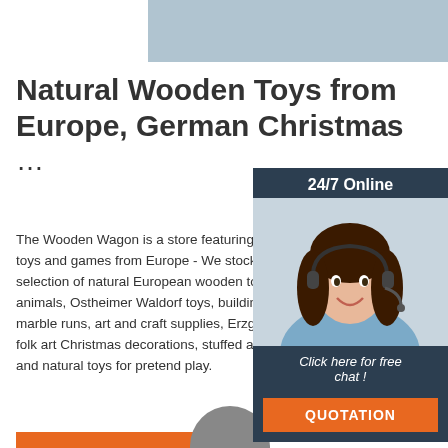[Figure (photo): Light blue/grey header banner image at top of page]
Natural Wooden Toys from Europe, German Christmas ...
The Wooden Wagon is a store featuring w... toys and games from Europe - We stock a selection of natural European wooden toy animals, Ostheimer Waldorf toys, building marble runs, art and craft supplies, Erzgeb folk art Christmas decorations, stuffed ani... and natural toys for pretend play.
[Figure (photo): 24/7 Online chat widget with photo of woman with headset, Click here for free chat!, QUOTATION button]
[Figure (logo): TOP logo with orange dots and text]
[Figure (photo): Partial image at bottom center of page]